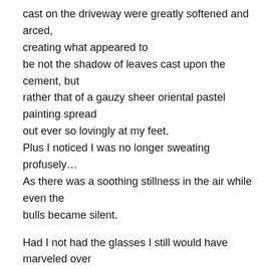cast on the driveway were greatly softened and arced, creating what appeared to be not the shadow of leaves cast upon the cement, but rather that of a gauzy sheer oriental pastel painting spread out ever so lovingly at my feet. Plus I noticed I was no longer sweating profusely… As there was a soothing stillness in the air while even the bulls became silent.

Had I not had the glasses I still would have marveled over the welcomed embrace of stillness, the temporary dip in temperature and the oddly shaped shadows cast filtering through the leaves.

Being awake in the midst of a dream is the best